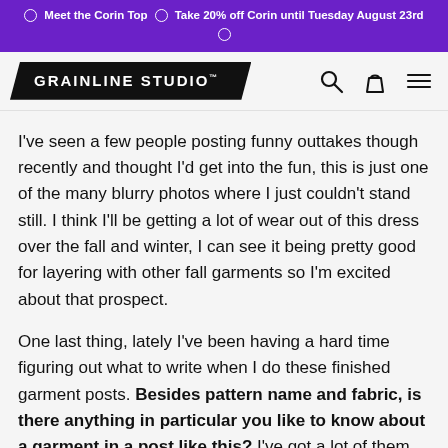☉ Meet the Corin Top ☉ Take 20% off Corin until Tuesday August 23rd ☉
GRAINLINE STUDIO™
I've seen a few people posting funny outtakes though recently and thought I'd get into the fun, this is just one of the many blurry photos where I just couldn't stand still. I think I'll be getting a lot of wear out of this dress over the fall and winter, I can see it being pretty good for layering with other fall garments so I'm excited about that prospect.
One last thing, lately I've been having a hard time figuring out what to write when I do these finished garment posts. Besides pattern name and fabric, is there anything in particular you like to know about a garment in a post like this? I've got a lot of them